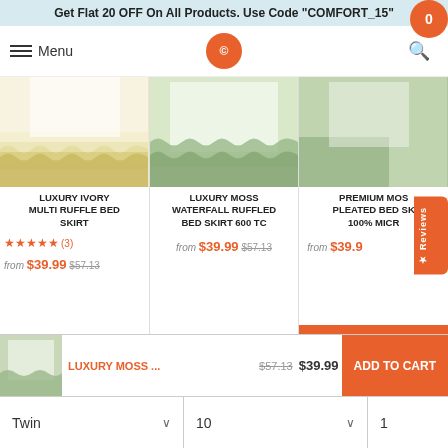Get Flat 20 OFF On All Products. Use Code "COMFORT_15"
[Figure (screenshot): Navigation bar with hamburger menu, Menu text, circular CB logo in orange, search icon, and cart icon with 0 badge]
[Figure (photo): Three product cards showing bed skirts: Luxury Ivory Multi Ruffle Bed Skirt, Luxury Moss Waterfall Ruffled Bed Skirt 600 TC, and Premium Moss Pleated Bed Skirt 100% Microfiber]
LUXURY IVORY MULTI RUFFLE BED SKIRT
★★★★★ (3)
from $39.99 $57.13
LUXURY MOSS WATERFALL RUFFLED BED SKIRT 600 TC
from $39.99 $57.13
PREMIUM MOSS PLEATED BED SKIRT 100% MICROFIBER
from $39.9
Add To Cart
LUXURY MOSS ... $57.13 $39.99 ADD TO CART
Twin
10
1